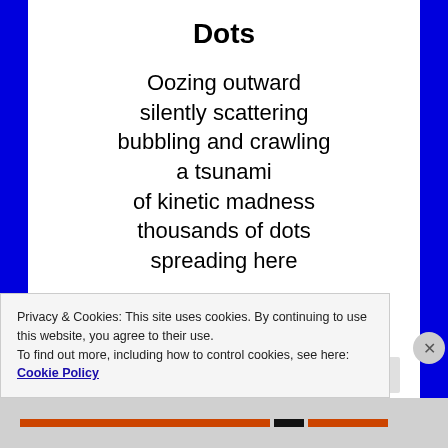Dots
Oozing outward
silently scattering
bubbling and crawling
a tsunami
of kinetic madness
thousands of dots
spreading here
Privacy & Cookies: This site uses cookies. By continuing to use this website, you agree to their use.
To find out more, including how to control cookies, see here: Cookie Policy
Close and accept